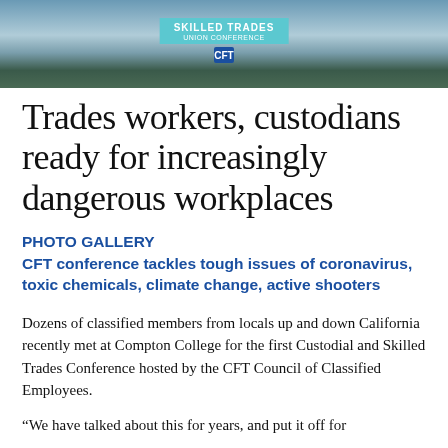[Figure (photo): Outdoor photo showing people near a light blue 'Skilled Trades' banner/sign on grass, with a CFT logo visible on the banner.]
Trades workers, custodians ready for increasingly dangerous workplaces
PHOTO GALLERY
CFT conference tackles tough issues of coronavirus, toxic chemicals, climate change, active shooters
Dozens of classified members from locals up and down California recently met at Compton College for the first Custodial and Skilled Trades Conference hosted by the CFT Council of Classified Employees.
“We have talked about this for years, and put it off for